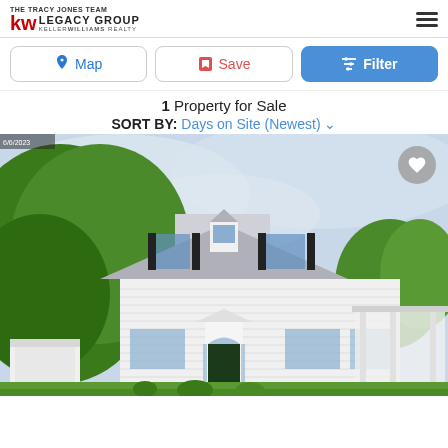[Figure (logo): The Tracy Jones Team - KW Legacy Group - Keller Williams Realty logo]
Map | Save | Filter
1 Property for Sale
SORT BY: Days on Site (Newest)
[Figure (photo): A white two-story colonial style house with covered porch, surrounded by large green trees, photographed on an overcast day]